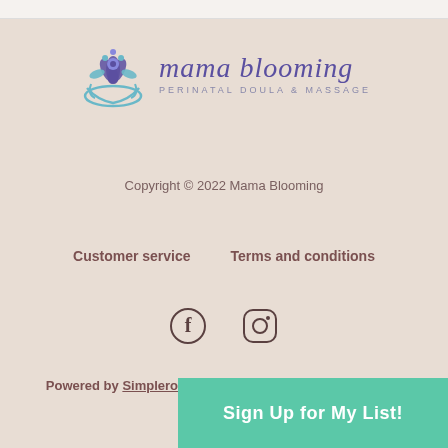[Figure (logo): Mama Blooming logo with a stylized figure and lotus/hands graphic in teal and purple, with text 'mama blooming' in purple italic script and 'PERINATAL DOULA & MASSAGE' in small caps below]
Copyright © 2022 Mama Blooming
Customer service    Terms and conditions
[Figure (other): Facebook and Instagram social media icons in dark color]
Powered by Simplero
Sign Up for My List!